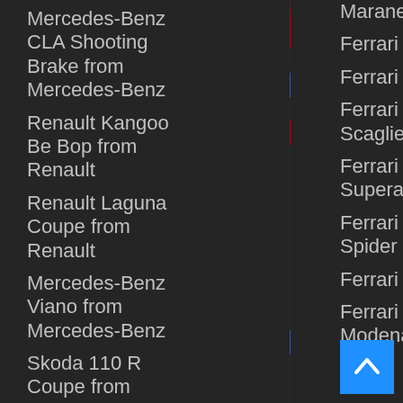Mercedes-Benz CLA Shooting Brake from Mercedes-Benz
Renault Kangoo Be Bop from Renault
Renault Laguna Coupe from Renault
Mercedes-Benz Viano from Mercedes-Benz
Skoda 110 R Coupe from Skoda
Maranello
Ferrari F8 Tributo
Ferrari Enzo
Ferrari 612 Scaglietti
Ferrari Superamerica F1
Ferrari F430 Spider
Ferrari F40
Ferrari 360 Modena